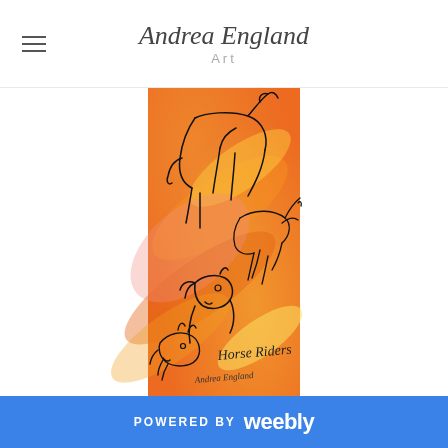Andrea England Art
[Figure (illustration): Watercolor and ink sketch of horses on orange/yellow background. Multiple horse outlines drawn in black ink over warm orange and yellow watercolor washes. Text 'Horse Riders' visible in lower right area of the artwork. By Andrea England.]
POWERED BY weebly